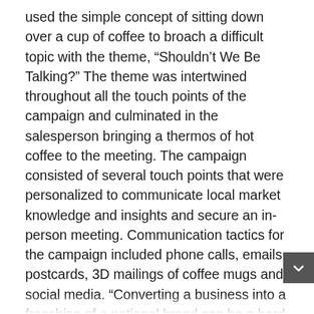used the simple concept of sitting down over a cup of coffee to broach a difficult topic with the theme, “Shouldn’t We Be Talking?” The theme was intertwined throughout all the touch points of the campaign and culminated in the salesperson bringing a thermos of hot coffee to the meeting. The campaign consisted of several touch points that were personalized to communicate local market knowledge and insights and secure an in-person meeting. Communication tactics for the campaign included phone calls, emails, postcards, 3D mailings of coffee mugs and social media. “Converting a business into a franchise of a national brand can be a hard and stressful decision, so the campaign’s goal was to make that experience feel more honest and conversational,” said Matt Sonnhalter, vision architect at Sonnhalter. “Both Sonnhalter and One Hour are very pleased with the rise in opportunities that stemmed from this campaign and are honored to be awarded for our efforts.” The Davey Awards honor the finest creative work from